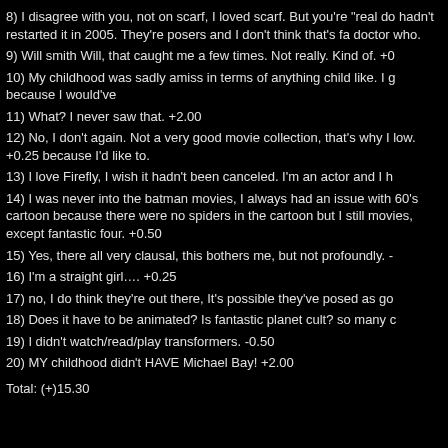8) I disagree with you, not on scarf, I loved scarf. But you're "real do hadn't restarted it in 2005. They're posers and I don't think that's fa doctor who.
9) Will smith Will, that caught me a few times. Not really. Kind of. +0
10) My childhood was sadly amiss in terms of anything child like. I g because I would've
11) What? I never saw that. +2.00
12) No, I don't again. Not a very good movie collection, that's why I low. +0.25 because I'd like to.
13) I love Firefly, I wish it hadn't been canceled. I'm an actor and I h
14) I was never into the batman movies, I always had an issue with 60's cartoon because there were no spiders in the cartoon but I still movies, except fantastic four. +0.50
15) Yes, there all very clausal, this bothers me, but not profoundly. -
16) I'm a straight girl…. +0.25
17) no, I do think they're out there, It's possible they've posed as go
18) Does it have to be animated? Is fantastic planet cult? so many c
19) I didn't watch/read/play transformers. -0.50
20) MY childhood didn't HAVE Michael Bay! +2.00
Total: (+)15.30